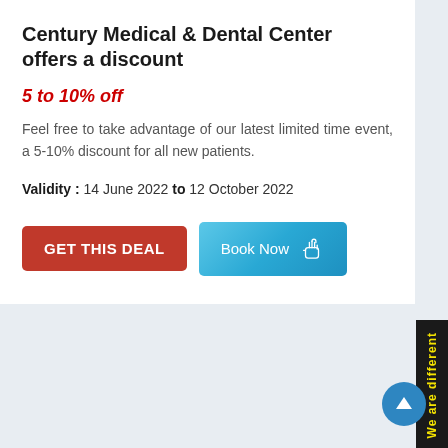Century Medical & Dental Center offers a discount
5 to 10% off
Feel free to take advantage of our latest limited time event, a 5-10% discount for all new patients.
Validity : 14 June 2022 to 12 October 2022
[Figure (other): Red GET THIS DEAL button and blue Book Now button with hand pointer icon]
[Figure (other): Black vertical side banner with yellow text reading We are different]
[Figure (other): Blue circular scroll-to-top arrow button in bottom right corner]